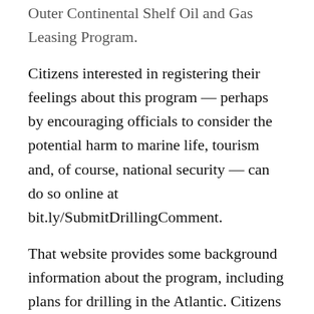Outer Continental Shelf Oil and Gas Leasing Program.
Citizens interested in registering their feelings about this program — perhaps by encouraging officials to consider the potential harm to marine life, tourism and, of course, national security — can do so online at bit.ly/SubmitDrillingComment.
That website provides some background information about the program, including plans for drilling in the Atlantic. Citizens also can send comments by mail to Ms. Kelly Hammerle, National Program Manager, BOEM, 45600 Woodland Rd., Mailstop VAM-LD, Sterling, VA 20166.
All of Hampton Roads has a vested interest in protecting its coasts for a number of reasons, and citizens should make sure that Washington knows why.
That includes the military's perspective — which helped Obama recognize the folly of his proposal — and which